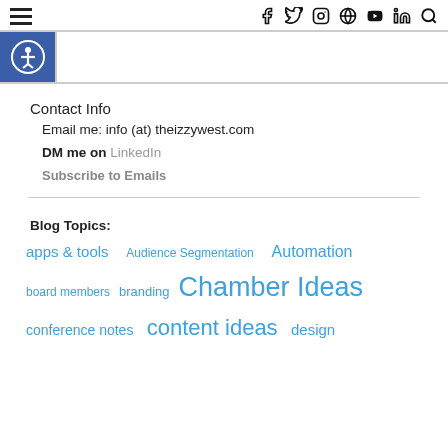≡  [social icons: facebook, twitter, instagram, pinterest, youtube, linkedin, search]
[Figure (infographic): Accessibility icon (person in circle) on blue square background, followed by white bar with gray border — website accessibility widget bar]
Contact Info
Email me: info (at) theizzywest.com
DM me on LinkedIn
Subscribe to Emails
Blog Topics:
apps & tools   Audience Segmentation   Automation   board members   branding   Chamber Ideas   conference notes   content ideas   design